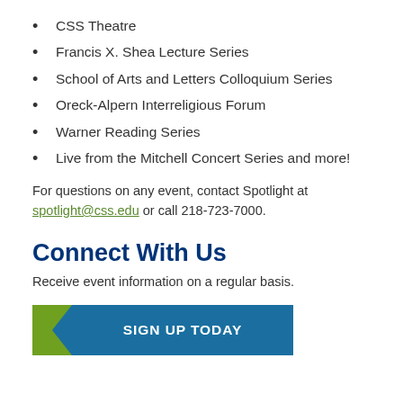CSS Theatre
Francis X. Shea Lecture Series
School of Arts and Letters Colloquium Series
Oreck-Alpern Interreligious Forum
Warner Reading Series
Live from the Mitchell Concert Series and more!
For questions on any event, contact Spotlight at spotlight@css.edu or call 218-723-7000.
Connect With Us
Receive event information on a regular basis.
[Figure (other): Sign Up Today button with green chevron on left and teal background]